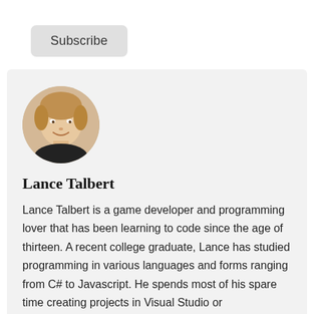Subscribe
[Figure (photo): Circular profile photo of Lance Talbert, a young man with blonde hair wearing a dark shirt, smiling.]
Lance Talbert
Lance Talbert is a game developer and programming lover that has been learning to code since the age of thirteen. A recent college graduate, Lance has studied programming in various languages and forms ranging from C# to Javascript. He spends most of his spare time creating projects in Visual Studio or